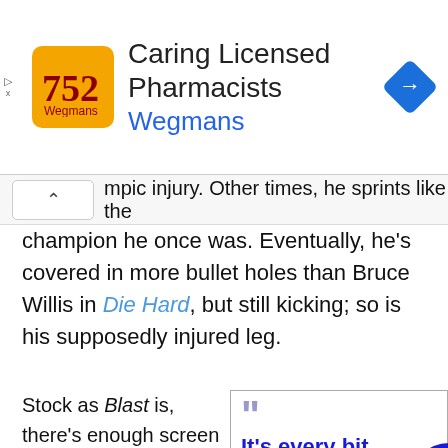[Figure (screenshot): Advertisement banner for Wegmans pharmacy with logo, text 'Caring Licensed Pharmacists / Wegmans', and navigation icon]
mpic injury. Other times, he sprints like the champion he once was. Eventually, he's covered in more bullet holes than Bruce Willis in Die Hard, but still kicking; so is his supposedly injured leg.
Stock as Blast is, there's enough screen chewing from head terrorist Andrew Divoff. There's also some hamminess
It's every bit cinematic chunk expected of a late ’90s DTV video store shelf clogger